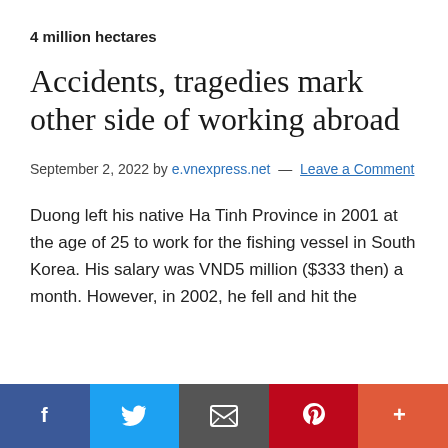4 million hectares
Accidents, tragedies mark other side of working abroad
September 2, 2022 by e.vnexpress.net — Leave a Comment
Duong left his native Ha Tinh Province in 2001 at the age of 25 to work for the fishing vessel in South Korea. His salary was VND5 million ($333 then) a month. However, in 2002, he fell and hit the
Social share bar: Facebook, Twitter, Email, Pinterest, More